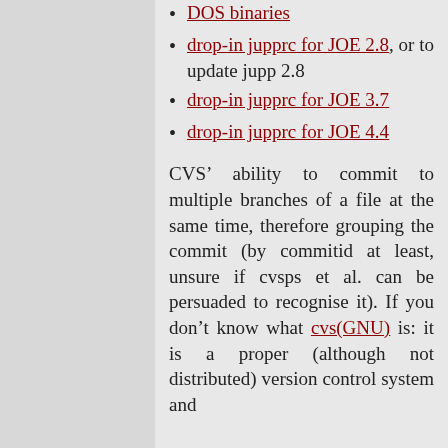DOS binaries
drop-in jupprc for JOE 2.8, or to update jupp 2.8
drop-in jupprc for JOE 3.7
drop-in jupprc for JOE 4.4
CVS’ ability to commit to multiple branches of a file at the same time, therefore grouping the commit (by commitid at least, unsure if cvsps et al. can be persuaded to recognise it). If you don’t know what cvs(GNU) is: it is a proper (although not distributed) version control system and